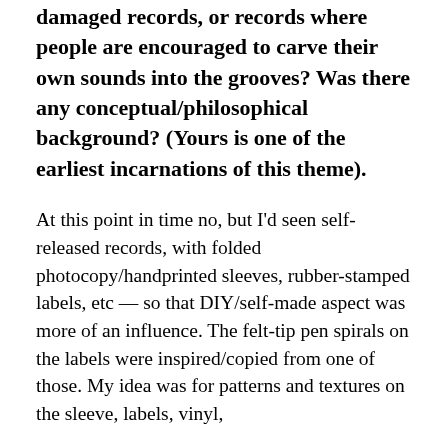damaged records, or records where people are encouraged to carve their own sounds into the grooves? Was there any conceptual/philosophical background? (Yours is one of the earliest incarnations of this theme).
At this point in time no, but I'd seen self-released records, with folded photocopy/handprinted sleeves, rubber-stamped labels, etc — so that DIY/self-made aspect was more of an influence. The felt-tip pen spirals on the labels were inspired/copied from one of those. My idea was for patterns and textures on the sleeve, labels, vinyl,
What do you see in your (in your life since...